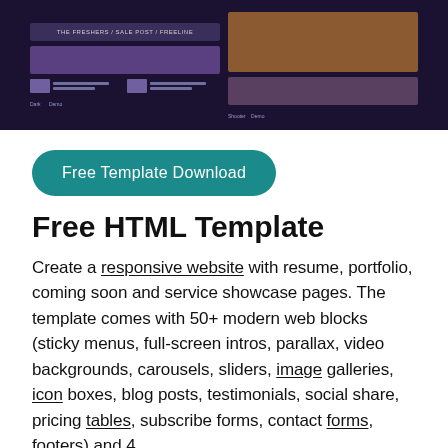[Figure (screenshot): Dark-themed website template screenshot showing two panel previews side by side with 'Dark' and 'Shooter' labels at bottom]
Free Template Download
Free HTML Template
Create a responsive website with resume, portfolio, coming soon and service showcase pages. The template comes with 50+ modern web blocks (sticky menus, full-screen intros, parallax, video backgrounds, carousels, sliders, image galleries, icon boxes, blog posts, testimonials, social share, pricing tables, subscribe forms, contact forms, footers) and 4